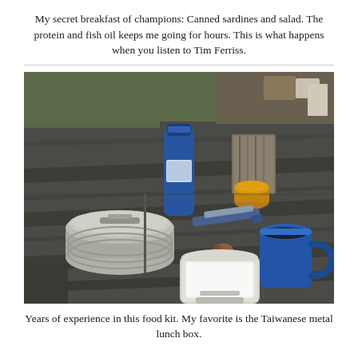My secret breakfast of champions: Canned sardines and salad. The protein and fish oil keeps me going for hours. This is what happens when you listen to Tim Ferriss.
[Figure (photo): A dark gray picnic table with camping food kit items arranged on it: a blue metal water bottle, an open tin can with orange contents, a folding pocket knife, a wooden spoon, a stack of metal plates with a lid, an open Taiwanese metal lunch box (tin), and a blue enamel mug. Background shows grass and various items.]
Years of experience in this food kit. My favorite is the Taiwanese metal lunch box.